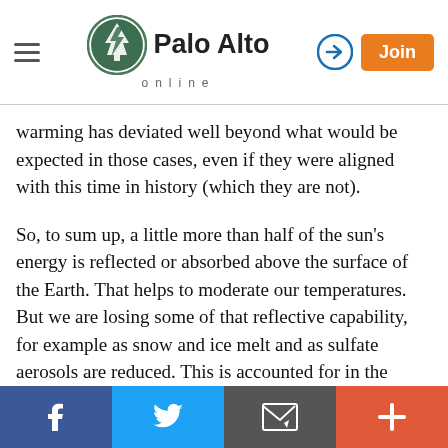Palo Alto online
warming has deviated well beyond what would be expected in those cases, even if they were aligned with this time in history (which they are not).
So, to sum up, a little more than half of the sun's energy is reflected or absorbed above the surface of the Earth. That helps to moderate our temperatures. But we are losing some of that reflective capability, for example as snow and ice melt and as sulfate aerosols are reduced. This is accounted for in the climate models that scientists develop, and they are working to better understand and quantify these impacts and evaluate ways to mitigate them. Much of the geo-engineering research work to mitigate global warming revolves around ideas to reduce
Facebook Twitter Email +